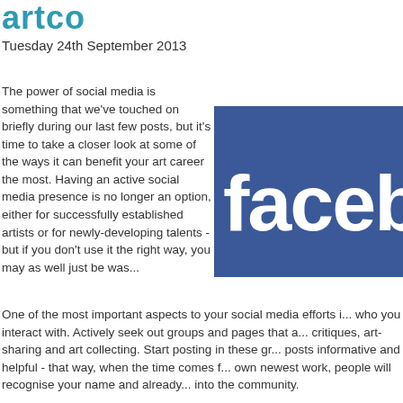[Figure (logo): Artco or similar logo in teal/blue stylized text at top left]
Tuesday 24th September 2013
The power of social media is something that we've touched on briefly during our last few posts, but it's time to take a closer look at some of the ways it can benefit your art career the most. Having an active social media presence is no longer an option, either for successfully established  artists or for newly-developing talents - but if you don't use it the right way, you may as well just be was...
[Figure (logo): Facebook logo — white bold text 'facebo' on blue rectangle background]
One of the most important aspects to your social media efforts i... who you interact with. Actively seek out groups and pages that a... critiques, art-sharing and art collecting. Start posting in these gr... posts informative and helpful - that way, when the time comes f... own newest work, people will recognise your name and already... into the community.